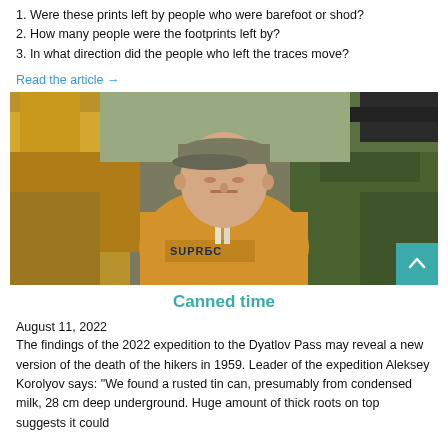1. Were these prints left by people who were barefoot or shod?
2. How many people were the footprints left by?
3. In what direction did the people who left the traces move?
Read the article →
[Figure (photo): A man wearing a yellow hoodie and a grey baseball cap, standing outdoors among autumn yellow-leaved trees. A teal scroll-to-top button is visible in the bottom-right corner of the image.]
Canned time
August 11, 2022
The findings of the 2022 expedition to the Dyatlov Pass may reveal a new version of the death of the hikers in 1959. Leader of the expedition Aleksey Korolyov says: "We found a rusted tin can, presumably from condensed milk, 28 cm deep underground. Huge amount of thick roots on top suggests it could